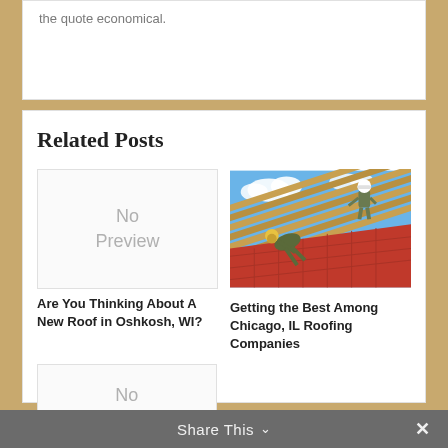the quote economical.
Related Posts
[Figure (other): No Preview placeholder box for a blog post]
[Figure (photo): Two workers in hard hats and work clothes laying red roofing tiles on a roof frame against a blue sky]
Are You Thinking About A New Roof in Oshkosh, WI?
Getting the Best Among Chicago, IL Roofing Companies
[Figure (other): No Preview placeholder box for a second blog post]
Share This ∨ ×